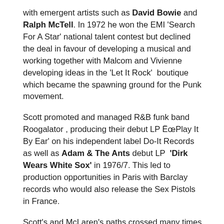with emergent artists such as David Bowie and Ralph McTell. In 1972 he won the EMI 'Search For A Star' national talent contest but declined the deal in favour of developing a musical and working together with Malcom and Vivienne developing ideas in the 'Let It Rock' boutique which became the spawning ground for the Punk movement.
Scott promoted and managed R&B funk band Roogalator , producing their debut LP ËœPlay It By Ear' on his independent label Do-It Records  as well as Adam & The Ants debut LP  'Dirk Wears White Sox' in 1976/7. This led to production opportunities in Paris with Barclay records who would also release the Sex Pistols in France.
Scott's and McLaren's paths crossed many times in 1977/8 prompting Scott and film director Julian Temple to record a historic debut of the Slits in a Paris night club for Malcolm who was now overloaded with the Sex Pistols implosion.  This event triggered the desire to return to the studio to produce and perform again. Adopting the pseudonym 'M'  Scott recorded and released 'Moderne Man' on his Do-It label in the UK and Barclay